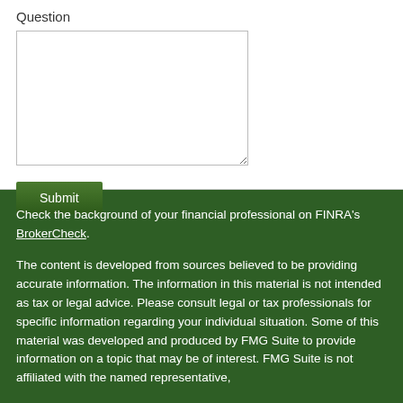Question
[textarea input field]
Submit
Check the background of your financial professional on FINRA's BrokerCheck.
The content is developed from sources believed to be providing accurate information. The information in this material is not intended as tax or legal advice. Please consult legal or tax professionals for specific information regarding your individual situation. Some of this material was developed and produced by FMG Suite to provide information on a topic that may be of interest. FMG Suite is not affiliated with the named representative,